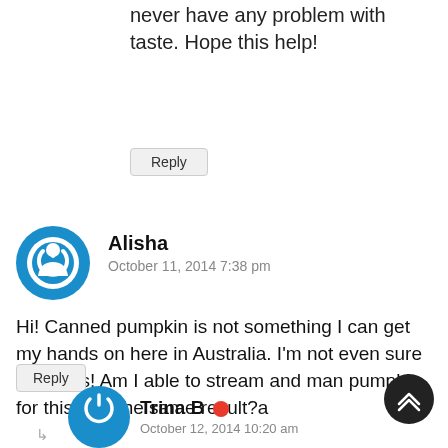never have any problem with taste. Hope this help!
Reply
Alisha
October 11, 2014 7:38 pm
Hi! Canned pumpkin is not something I can get my hands on here in Australia. I'm not even sure what it is! Am I able to stream and man pumpkin for this with the same result?a
Reply
Trina B
October 12, 2014 10:20 am